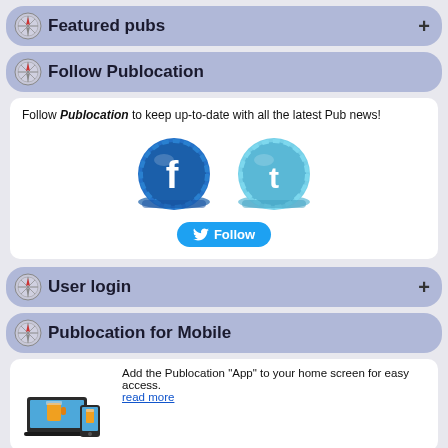Featured pubs
Follow Publocation
Follow Publocation to keep up-to-date with all the latest Pub news!
[Figure (illustration): Facebook bottle cap icon and Twitter bottle cap icon, with a Twitter Follow button below]
User login
Publocation for Mobile
[Figure (illustration): Laptop and mobile device showing Publocation app]
Add the Publocation "App" to your home screen for easy access. read more